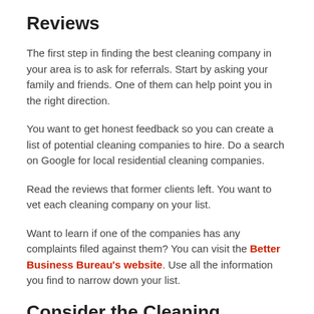Reviews
The first step in finding the best cleaning company in your area is to ask for referrals. Start by asking your family and friends. One of them can help point you in the right direction.
You want to get honest feedback so you can create a list of potential cleaning companies to hire. Do a search on Google for local residential cleaning companies.
Read the reviews that former clients left. You want to vet each cleaning company on your list.
Want to learn if one of the companies has any complaints filed against them? You can visit the Better Business Bureau's website. Use all the information you find to narrow down your list.
Consider the Cleaning Services You